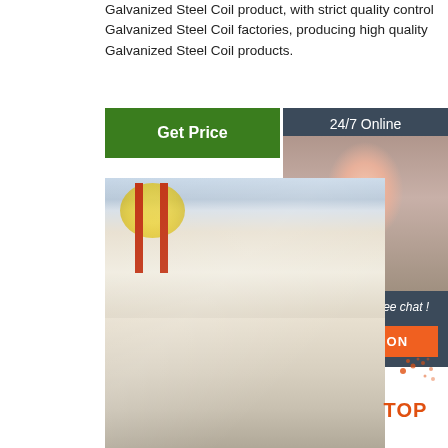Galvanized Steel Coil product, with strict quality control Galvanized Steel Coil factories, producing high quality Galvanized Steel Coil products.
[Figure (other): Green 'Get Price' button]
[Figure (other): Sidebar with '24/7 Online' header, customer service representative photo, 'Click here for free chat!' text, and orange 'QUOTATION' button on dark blue-grey background]
[Figure (photo): Industrial warehouse interior showing steel coil storage with red metal structures, yellow coils in background, and large flat steel plates on the floor in the foreground]
[Figure (logo): Orange 'TOP' watermark logo with dot spray design in bottom right corner]